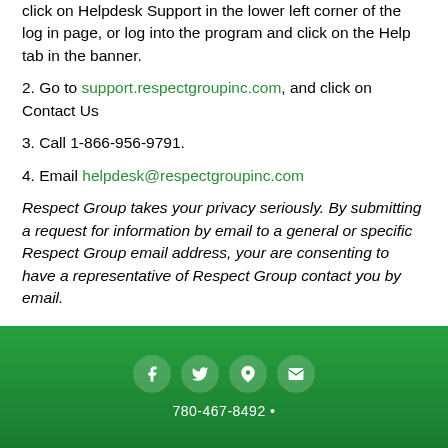click on Helpdesk Support in the lower left corner of the log in page, or log into the program and click on the Help tab in the banner.
2. Go to support.respectgroupinc.com, and click on Contact Us
3. Call 1-866-956-9791.
4. Email helpdesk@respectgroupinc.com
Respect Group takes your privacy seriously. By submitting a request for information by email to a general or specific Respect Group email address, your are consenting to have a representative of Respect Group contact you by email.
780-467-8492 •